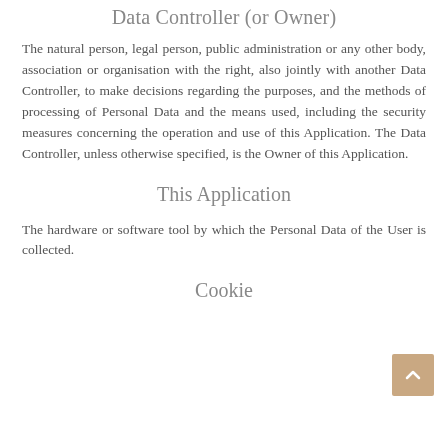Data Controller (or Owner)
The natural person, legal person, public administration or any other body, association or organisation with the right, also jointly with another Data Controller, to make decisions regarding the purposes, and the methods of processing of Personal Data and the means used, including the security measures concerning the operation and use of this Application. The Data Controller, unless otherwise specified, is the Owner of this Application.
This Application
The hardware or software tool by which the Personal Data of the User is collected.
Cookie